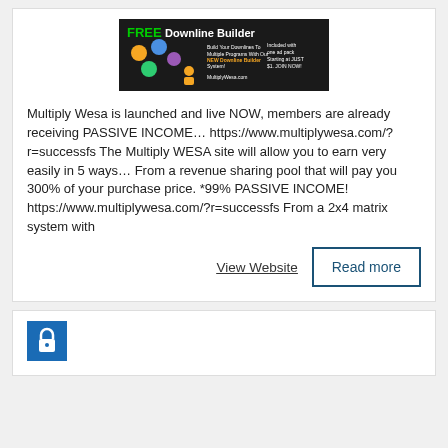[Figure (illustration): FREE Downline Builder banner ad with colorful circles/icons on dark background, text about building downlines and MultiplyWesa.com]
Multiply Wesa is launched and live NOW, members are already receiving PASSIVE INCOME… https://www.multiplywesa.com/?r=successfs The Multiply WESA site will allow you to earn very easily in 5 ways… From a revenue sharing pool that will pay you 300% of your purchase price. *99% PASSIVE INCOME! https://www.multiplywesa.com/?r=successfs From a 2x4 matrix system with
View Website
Read more
[Figure (logo): Blue icon/logo box partially visible at bottom of page]